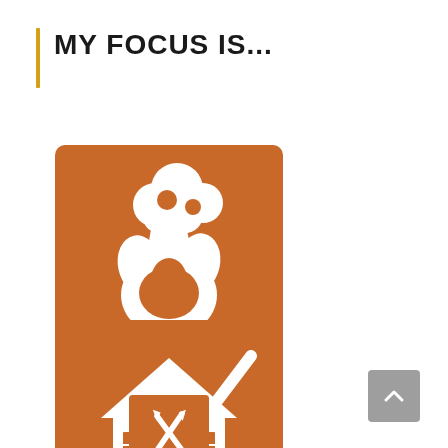MY FOCUS IS...
[Figure (illustration): Orange square icon with white fire/smoke restoration symbol — fire with smoke cloud above, sitting on a surface]
Restoration
[Figure (illustration): Orange square icon with white house and broom/mop symbol — residential cleaning service icon]
Residential
[Figure (illustration): Orange square icon partially visible at bottom — appears to show tools/construction symbol]